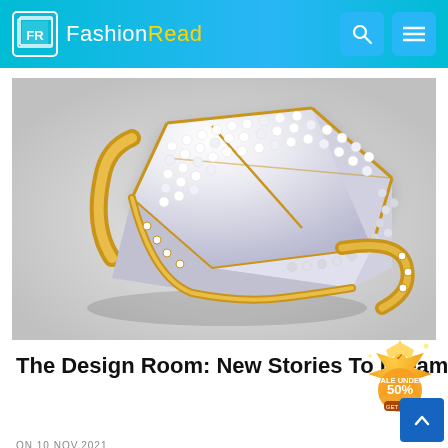FR FashionRead
[Figure (photo): A large diamond and gold ring with geometric faceted design covered in pavé diamonds, photographed on a light gray background]
The Design Room: New Stories To Dream
ON 10 NOV,2021